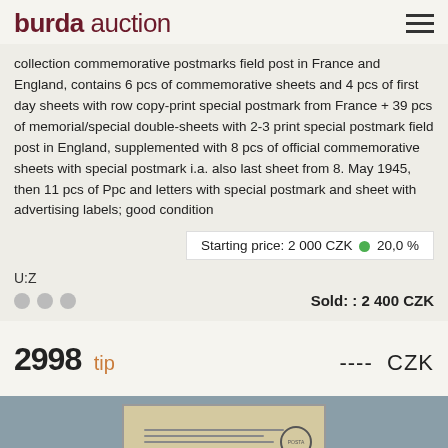burda auction
collection commemorative postmarks field post in France and England, contains 6 pcs of commemorative sheets and 4 pcs of first day sheets with row copy-print special postmark from France + 39 pcs of memorial/special double-sheets with 2-3 print special postmark field post in England, supplemented with 8 pcs of official commemorative sheets with special postmark i.a. also last sheet from 8. May 1945, then 11 pcs of Ppc and letters with special postmark and sheet with advertising labels; good condition
Starting price: 2 000 CZK ⊕ 20,0 %
U:Z
Sold: : 2 400 CZK
2998 tip ---- CZK
[Figure (photo): Old letter or postcard with handwritten text and a postal stamp/postmark circle, shown against a blue-grey background]